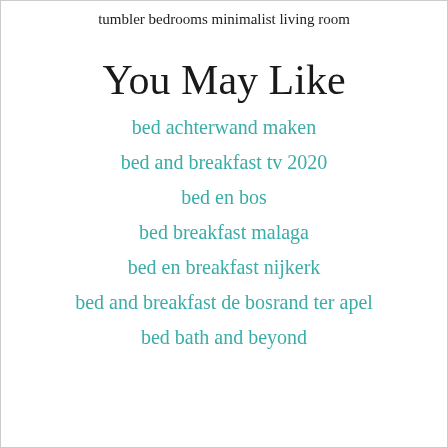tumbler bedrooms minimalist living room
You May Like
bed achterwand maken
bed and breakfast tv 2020
bed en bos
bed breakfast malaga
bed en breakfast nijkerk
bed and breakfast de bosrand ter apel
bed bath and beyond